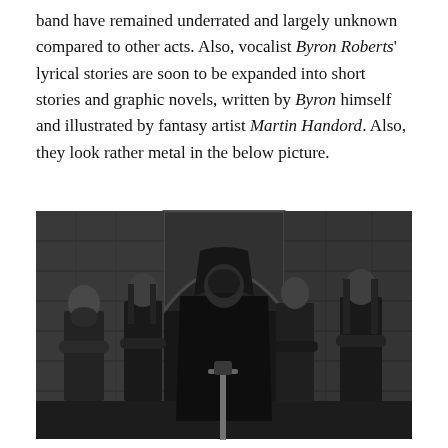band have remained underrated and largely unknown compared to other acts. Also, vocalist Byron Roberts' lyrical stories are soon to be expanded into short stories and graphic novels, written by Byron himself and illustrated by fantasy artist Martin Handord. Also, they look rather metal in the below picture.
[Figure (photo): Black and white photograph of five band members standing in front of stone ruins/archway. The central figure wears a dark hooded cloak and holds a sword pointing downward. The other four members stand on either side with arms crossed, dressed in black. The setting appears to be an old castle or abbey.]